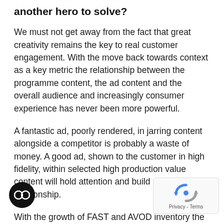another hero to solve?
We must not get away from the fact that great creativity remains the key to real customer engagement. With the move back towards context as a key metric the relationship between the programme content, the ad content and the overall audience and increasingly consumer experience has never been more powerful.
A fantastic ad, poorly rendered, in jarring content alongside a competitor is probably a waste of money. A good ad, shown to the customer in high fidelity, within selected high production value content will hold attention and build a positive relationship.
With the growth of FAST and AVOD inventory the likelihood is that ad dollars will follow from existing and new to TV advertisers. So for this to happen quickly and seamlessly we need some digital hero need to get to a place where first-party data better inform ad placement decisions, and then the